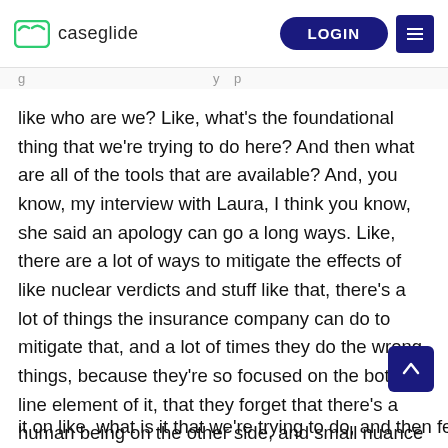caseglide — LOGIN
like who are we? Like, what's the foundational thing that we're trying to do here? And then what are all of the tools that are available? And, you know, my interview with Laura, I think you know, she said an apology can go a long ways. Like, there are a lot of ways to mitigate the effects of like nuclear verdicts and stuff like that, there's a lot of things the insurance company can do to mitigate that, and a lot of times they do the wrong things, because they're so focused on the bottom line element of it, that they forget that there's a human being on the other side, and small nuance things can go a long way that's we haven't even including technology in that but you know, it does matter. Like who's the attorney on the other side, what's their reputation? What's their record on all of that? Adding that predictive modeling like to make sound decisions with the human piece of it on like, what is it that we're trying to do, and then feeding all of